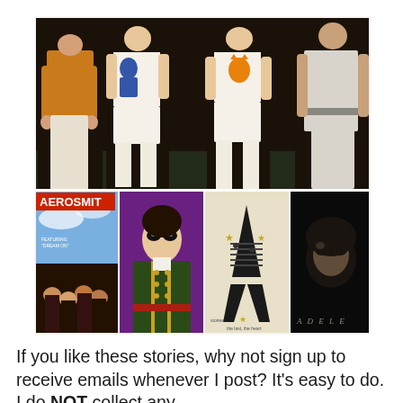[Figure (photo): Collage of music-related photos: top half shows a retro fashion group of four people in 1980s style outfits (orange dungarees, white cat print shirt, white outfits, white boots); bottom row shows four images: Aerosmith album cover featuring 'Dream On', a person in theatrical makeup and green military jacket, a decorative letter A made of sheet music with stars, and a dark moody portrait with 'Adele' text]
If you like these stories, why not sign up to receive emails whenever I post? It's easy to do. I do NOT collect any